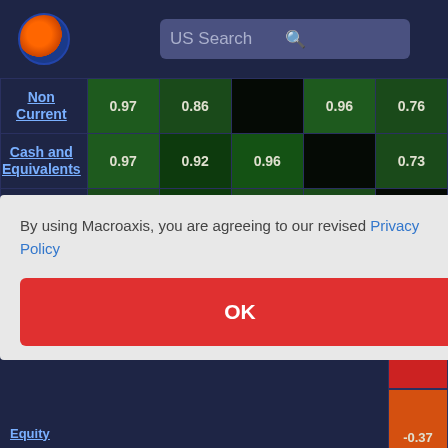[Figure (screenshot): Macroaxis website header with orange/blue globe logo and US Search bar on dark navy background]
|  | Col1 | Col2 | Col3 | Col4 | Col5 |
| --- | --- | --- | --- | --- | --- |
| Non Current | 0.97 | 0.86 |  | 0.96 | 0.76 |
| Cash and Equivalents | 0.97 | 0.92 | 0.96 |  | 0.73 |
| Total Debt | 0.76 | 0.67 | 0.76 | 0.73 |  |
By using Macroaxis, you are agreeing to our revised Privacy Policy
OK
1.0
-0.57
-0.37
Equity